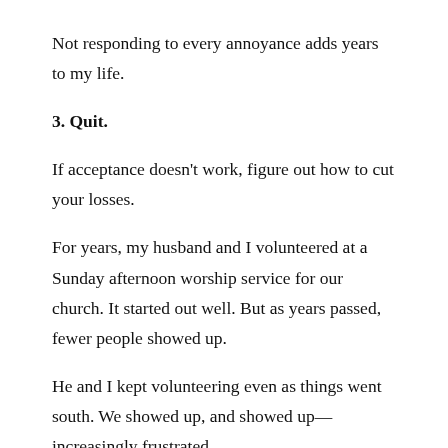Not responding to every annoyance adds years to my life.
3. Quit.
If acceptance doesn't work, figure out how to cut your losses.
For years, my husband and I volunteered at a Sunday afternoon worship service for our church. It started out well. But as years passed, fewer people showed up.
He and I kept volunteering even as things went south. We showed up, and showed up—increasingly frustrated.